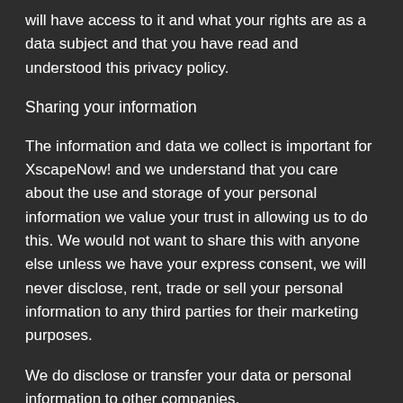will have access to it and what your rights are as a data subject and that you have read and understood this privacy policy.
Sharing your information
The information and data we collect is important for XscapeNow! and we understand that you care about the use and storage of your personal information we value your trust in allowing us to do this. We would not want to share this with anyone else unless we have your express consent, we will never disclose, rent, trade or sell your personal information to any third parties for their marketing purposes.
We do disclose or transfer your data or personal information to other companies,